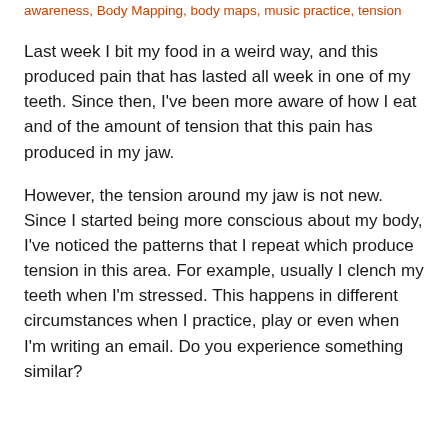awareness, Body Mapping, body maps, music practice, tension
Last week I bit my food in a weird way, and this produced pain that has lasted all week in one of my teeth. Since then, I’ve been more aware of how I eat and of the amount of tension that this pain has produced in my jaw.
However, the tension around my jaw is not new. Since I started being more conscious about my body, I’ve noticed the patterns that I repeat which produce tension in this area. For example, usually I clench my teeth when I’m stressed. This happens in different circumstances when I practice, play or even when I’m writing an email. Do you experience something similar?